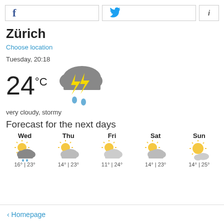[Figure (infographic): Top navigation bar with Facebook, Twitter and info buttons]
Zürich
Choose location
Tuesday, 20:18
[Figure (illustration): Current weather icon: thunderstorm cloud with lightning bolts and rain drops]
24°C
very cloudy, stormy
Forecast for the next days
[Figure (infographic): 5-day forecast icons: Wed partly cloudy with rain, Thu partly cloudy, Fri partly cloudy, Sat partly cloudy, Sun sunny with clouds]
Wed 16° | 23°  Thu 14° | 23°  Fri 11° | 24°  Sat 14° | 23°  Sun 14° | 25°
< Homepage